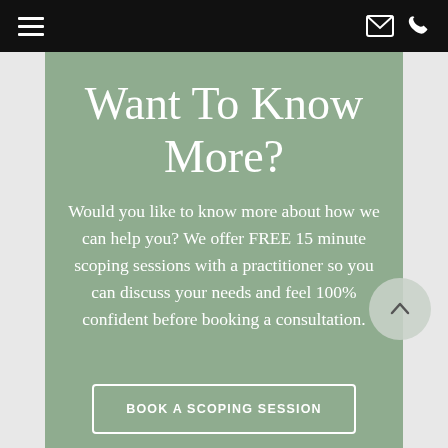Navigation bar with hamburger menu, email icon, and phone icon
Want To Know More?
Would you like to know more about how we can help you? We offer FREE 15 minute scoping sessions with a practitioner so you can discuss your needs and feel 100% confident before booking a consultation.
BOOK A SCOPING SESSION